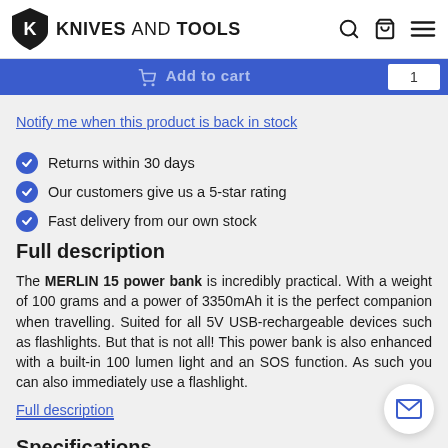KNIVES AND TOOLS
Add to cart
Notify me when this product is back in stock
Returns within 30 days
Our customers give us a 5-star rating
Fast delivery from our own stock
Full description
The MERLIN 15 power bank is incredibly practical. With a weight of 100 grams and a power of 3350mAh it is the perfect companion when travelling. Suited for all 5V USB-rechargeable devices such as flashlights. But that is not all! This power bank is also enhanced with a built-in 100 lumen light and an SOS function. As such you can also immediately use a flashlight.
Full description
Specifications
| Length |  |
| --- | --- |
| Length | 10.7 cm |